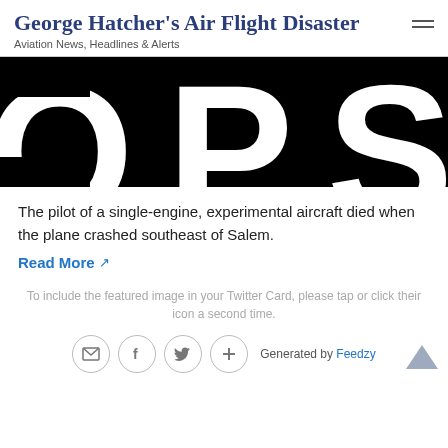George Hatcher's Air Flight Disaster
Aviation News, Headlines & Alerts
[Figure (photo): Cropped large bold text on black background showing partial letters 'OPS' or similar large typography, black and white contrast image]
The pilot of a single-engine, experimental aircraft died when the plane crashed southeast of Salem.
Read More ↗
To include the featured image in your Twitter Card, please tap or click their icon a second time.
Generated by Feedzy